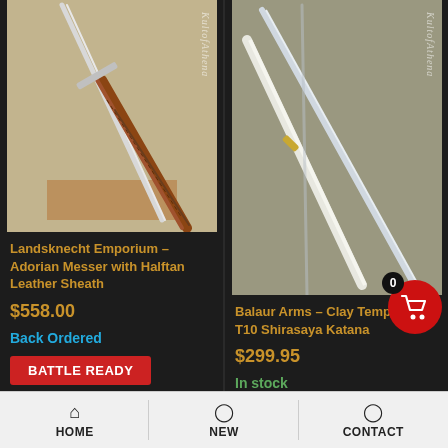[Figure (photo): Product photo of Landsknecht Emporium Adorian Messer with KultofAthena watermark]
Landsknecht Emporium – Adorian Messer with Halftan Leather Sheath
$558.00
Back Ordered
BATTLE READY
[Figure (logo): Landsknecht Emporium brand logo]
[Figure (photo): Product photo of Balaur Arms Clay Tempered T10 Shirasaya Katana with KultofAthena watermark]
Balaur Arms – Clay Tempered T10 Shirasaya Katana
$299.95
In stock
BATTLE READY
HOME  NEW  CONTACT